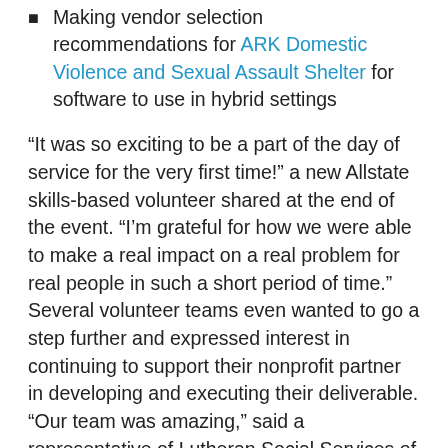Making vendor selection recommendations for ARK Domestic Violence and Sexual Assault Shelter for software to use in hybrid settings
“It was so exciting to be a part of the day of service for the very first time!” a new Allstate skills-based volunteer shared at the end of the event. “I’m grateful for how we were able to make a real impact on a real problem for real people in such a short period of time.” Several volunteer teams even wanted to go a step further and expressed interest in continuing to support their nonprofit partner in developing and executing their deliverable. “Our team was amazing,” said a representative of Lutheran Social Services of Central Ohio. “I love that we got a nice combo of recommendations, some that will be easy to implement with low effort on our end but will have a big impact and others that will get thoughts started. There’s a lot of value to looking outside the nonprofit sector and talking with folks that do very different work than